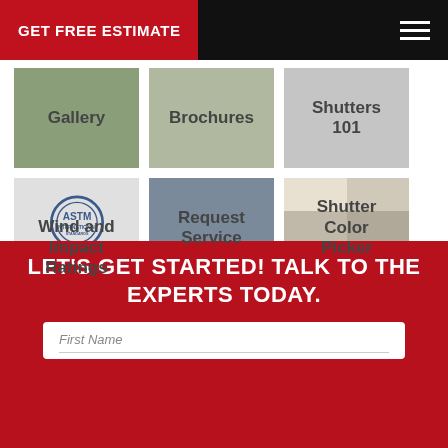GET FREE ESTIMATE
[Figure (screenshot): Navigation grid with 6 cells: Gallery, Brochures, Shutters 101, Wind and Impact Ratings, Request Service, Shutter Color Picker]
LET'S GET STARTED! TALK TO THE EXPERTS TODAY.
First Name